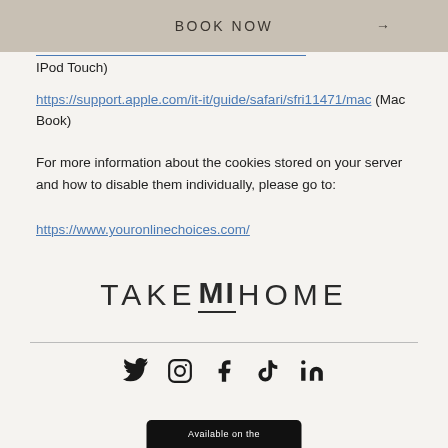BOOK NOW →
IPod Touch)
https://support.apple.com/it-it/guide/safari/sfri11471/mac (Mac Book)
For more information about the cookies stored on your server and how to disable them individually, please go to:
https://www.youronlinechoices.com/
[Figure (logo): TAKE MI HOME logo with MI underlined]
[Figure (other): Social media icons: Twitter, Instagram, Facebook, TikTok, LinkedIn]
[Figure (other): Available on the App Store button (partially visible at bottom)]